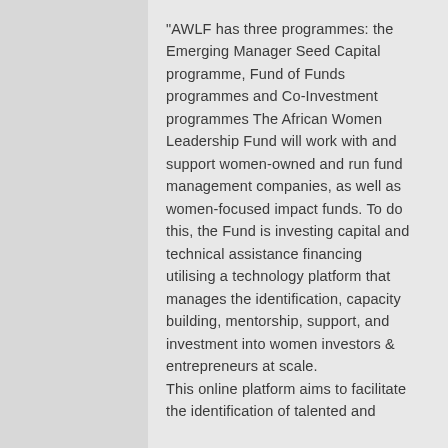"AWLF has three programmes: the Emerging Manager Seed Capital programme, Fund of Funds programmes and Co-Investment programmes The African Women Leadership Fund will work with and support women-owned and run fund management companies, as well as women-focused impact funds. To do this, the Fund is investing capital and technical assistance financing utilising a technology platform that manages the identification, capacity building, mentorship, support, and investment into women investors & entrepreneurs at scale.
This online platform aims to facilitate the identification of talented and